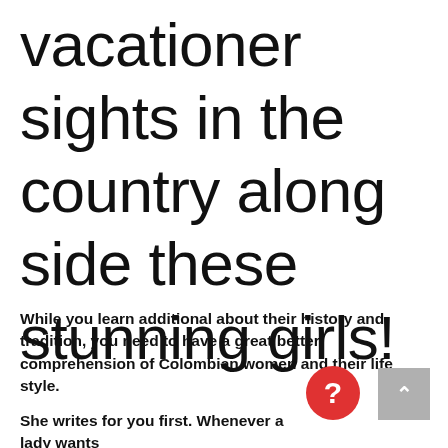vacationer sights in the country along side these stunning girls!
While you learn additional about their history and tradition, you need to have a great better comprehension of Colombian women and their life style.
She writes for you first. Whenever a lady wants